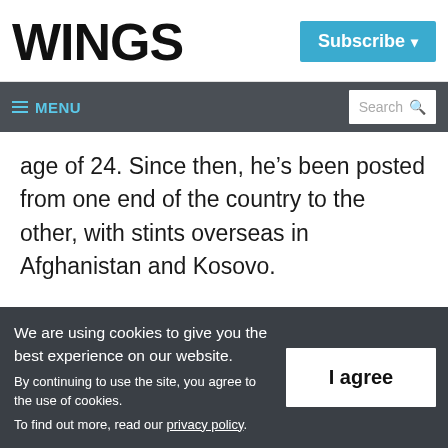WINGS
Subscribe ▾
≡ MENU  Search 🔍
age of 24. Since then, he's been posted from one end of the country to the other, with stints overseas in Afghanistan and Kosovo.
However, before now, one part of Canada he hadn't really experienced was Labrador.
We are using cookies to give you the best experience on our website. By continuing to use the site, you agree to the use of cookies. To find out more, read our privacy policy.